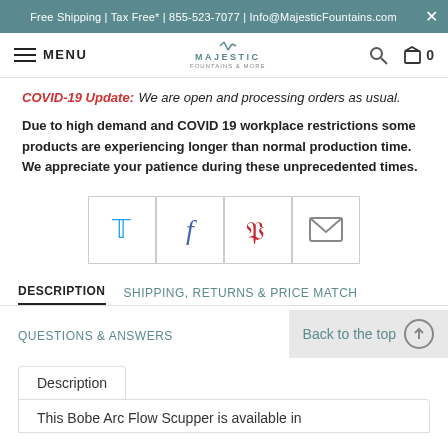Free Shipping | Tax Free* | 855-523-7077 | Info@MajesticFountains.com
[Figure (screenshot): Navigation bar with hamburger menu, MENU text, Majestic Fountains logo, search icon, and cart icon showing 0]
COVID-19 Update: We are open and processing orders as usual.
Due to high demand and COVID 19 workplace restrictions some products are experiencing longer than normal production time. We appreciate your patience during these unprecedented times.
[Figure (infographic): Four social sharing icons in bordered boxes: Twitter (blue bird), Facebook (blue f), Pinterest (red P), Email (grey envelope)]
DESCRIPTION
SHIPPING, RETURNS & PRICE MATCH
QUESTIONS & ANSWERS
Back to the top
Description
This Bobe Arc Flow Scupper is available in